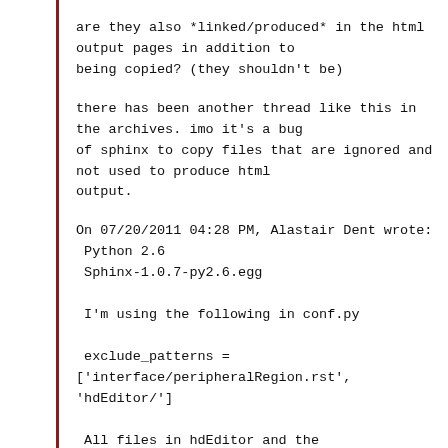are they also *linked/produced* in the html output pages in addition to being copied? (they shouldn't be)
there has been another thread like this in the archives. imo it's a bug of sphinx to copy files that are ignored and not used to produce html output.
On 07/20/2011 04:28 PM, Alastair Dent wrote:
 Python 2.6
 Sphinx-1.0.7-py2.6.egg

 I'm using the following in conf.py

 exclude_patterns =
['interface/peripheralRegion.rst',
'hdEditor/']

 All files in hdEditor and the